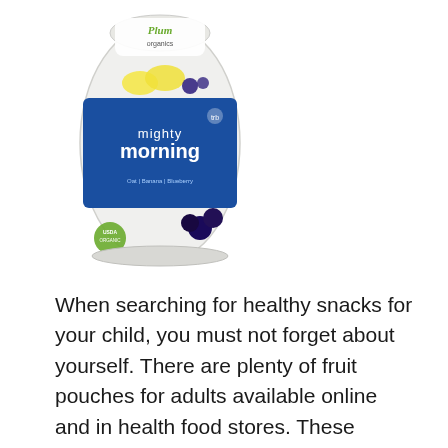[Figure (photo): Product photo of Plum Organics Mighty Morning baby/toddler food pouch with blue label, showing banana and blueberry flavoring, with fruit images on packaging.]
When searching for healthy snacks for your child, you must not forget about yourself. There are plenty of fruit pouches for adults available online and in health food stores. These pouches contain freeze-dried fruits like bananas, apricots, and apples for adults who are tired of taking vitamins or eating fruit plain. There is a flavor for anyone, and the pouches are great when you're on the go. Many adults become so busy at work that they have little time to sit down and eat a meal. The